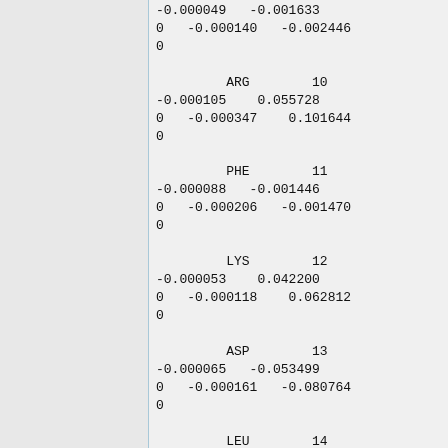-0.000049   -0.001633
0   -0.000140   -0.002446
0
         ARG        10
-0.000105    0.055728
0   -0.000347    0.101644
0
         PHE        11
-0.000088   -0.001446
0   -0.000206   -0.001470
0
         LYS        12
-0.000053    0.042200
0   -0.000118    0.062812
0
         ASP        13
-0.000065   -0.053499
0   -0.000161   -0.080764
0
         LEU        14
-0.000148   -0.001055
0   -0.000385    0.000664
0
         GLY        15
-0.000054   -0.003380